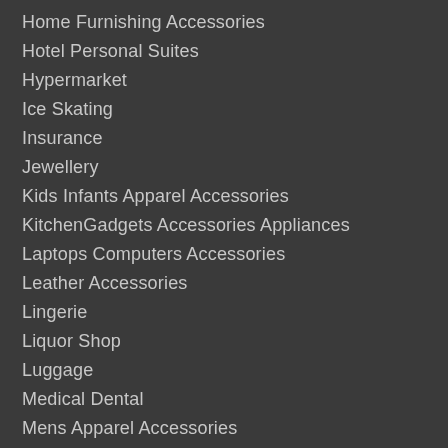Home Furnishing Accessories
Hotel Personal Suites
Hypermarket
Ice Skating
Insurance
Jewellery
Kids Infants Apparel Accessories
KitchenGadgets Accessories Appliances
Laptops Computers Accessories
Leather Accessories
Lingerie
Liquor Shop
Luggage
Medical Dental
Mens Apparel Accessories